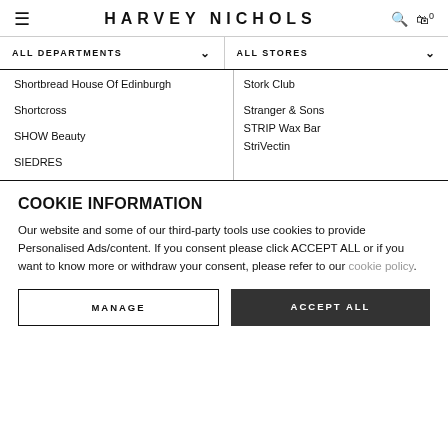HARVEY NICHOLS
ALL DEPARTMENTS
ALL STORES
Shortbread House Of Edinburgh
Stork Club
Shortcross
Stranger & Sons	A
SHOW Beauty
STRIP Wax Bar	B
SIEDRES
StriVectin	C
D
COOKIE INFORMATION
Our website and some of our third-party tools use cookies to provide Personalised Ads/content. If you consent please click ACCEPT ALL or if you want to know more or withdraw your consent, please refer to our cookie policy.
MANAGE
ACCEPT ALL